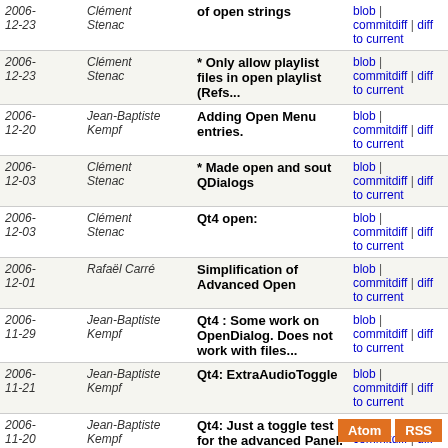| Date | Author | Message | Links |
| --- | --- | --- | --- |
| 2006-12-23 | Clément Stenac | of open strings | blob | commitdiff | diff to current |
| 2006-12-23 | Clément Stenac | * Only allow playlist files in open playlist (Refs... | blob | commitdiff | diff to current |
| 2006-12-20 | Jean-Baptiste Kempf | Adding Open Menu entries. | blob | commitdiff | diff to current |
| 2006-12-03 | Clément Stenac | * Made open and sout QDialogs | blob | commitdiff | diff to current |
| 2006-12-03 | Clément Stenac | Qt4 open: | blob | commitdiff | diff to current |
| 2006-12-01 | Rafaël Carré | Simplification of Advanced Open | blob | commitdiff | diff to current |
| 2006-11-29 | Jean-Baptiste Kempf | Qt4 : Some work on OpenDialog. Does not work with files... | blob | commitdiff | diff to current |
| 2006-11-21 | Jean-Baptiste Kempf | Qt4: ExtraAudioToggle | blob | commitdiff | diff to current |
| 2006-11-20 | Jean-Baptiste Kempf | Qt4: Just a toggle test for the advanced Panel. | blob | commitdiff | diff to current |
| 2006-11-20 | Jean-Baptiste Kempf | * Qt4: added network and disk UIs to Open | blob | commitdiff | diff to current |
| 2006-11-16 | Jean-Baptiste Kempf | * Qt4: Display open dialog. Not yet functionnable. | blob | commitdiff | diff to current |
NOT UP TO DATE ANYMORE, use gitlab tree on https://code.videolan.org/videolan/vlc instead.